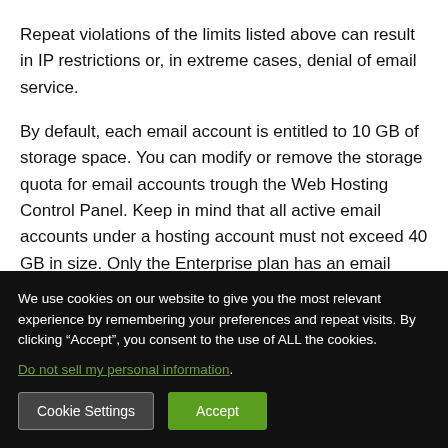Repeat violations of the limits listed above can result in IP restrictions or, in extreme cases, denial of email service.
By default, each email account is entitled to 10 GB of storage space. You can modify or remove the storage quota for email accounts trough the Web Hosting Control Panel. Keep in mind that all active email accounts under a hosting account must not exceed 40 GB in size. Only the Enterprise plan has an email
We use cookies on our website to give you the most relevant experience by remembering your preferences and repeat visits. By clicking “Accept”, you consent to the use of ALL the cookies.
Do not sell my personal information.